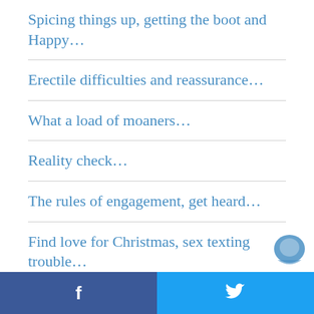Spicing things up, getting the boot and Happy…
Erectile difficulties and reassurance…
What a load of moaners…
Reality check…
The rules of engagement, get heard…
Find love for Christmas, sex texting trouble…
More bad behaviour, hot older guys, our bad sides…
Spread a little love and music to do it by…
f  🐦